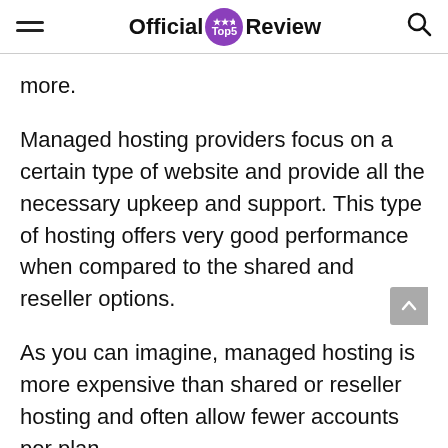Official Top5 Review
more.
Managed hosting providers focus on a certain type of website and provide all the necessary upkeep and support. This type of hosting offers very good performance when compared to the shared and reseller options.
As you can imagine, managed hosting is more expensive than shared or reseller hosting and often allow fewer accounts per plan.